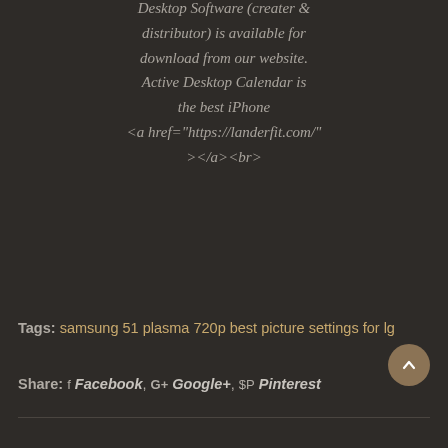Desktop Software (creater & distributor) is available for download from our website. Active Desktop Calendar is the best iPhone <a href="https://landerfit.com/" ></a><br>
Tags: samsung 51 plasma 720p best picture settings for lg
Share: f Facebook, G+ Google+, P Pinterest